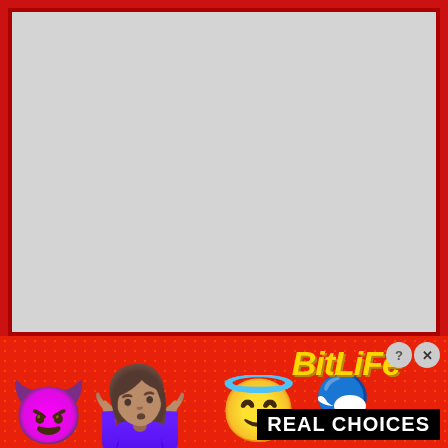[Figure (screenshot): Gray placeholder content area with dark red border on a red background]
[Figure (infographic): BitLife mobile game advertisement banner with red dotted background, emoji icons (devil, person shrugging, angel, sperm), BitLife logo in gold italic text, and 'REAL CHOICES' text in white on black. Close and info buttons in top right corner.]